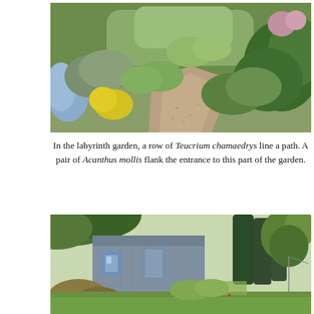[Figure (photo): A gravel garden path winding through lush plantings including lavender, blue fescue grass, yellow flowering plants, and large-leaved Acanthus mollis on either side.]
In the labyrinth garden, a row of Teucrium chamaedrys line a path. A pair of Acanthus mollis flank the entrance to this part of the garden.
[Figure (photo): A grey barn or studio building surrounded by ornamental grasses and green lawns, with tall conifers and deciduous trees in the background.]